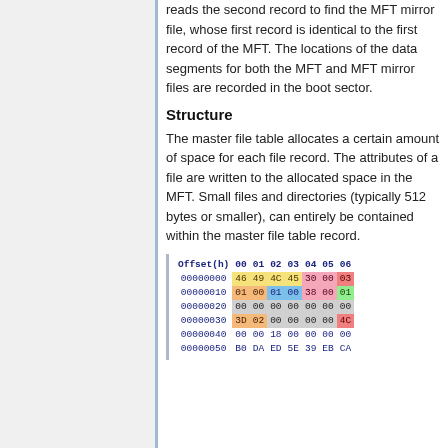reads the second record to find the MFT mirror file, whose first record is identical to the first record of the MFT. The locations of the data segments for both the MFT and MFT mirror files are recorded in the boot sector.
Structure
The master file table allocates a certain amount of space for each file record. The attributes of a file are written to the allocated space in the MFT. Small files and directories (typically 512 bytes or smaller), can entirely be contained within the master file table record.
| Offset(h) | 00 | 01 | 02 | 03 | 04 | 05 | 06 |
| --- | --- | --- | --- | --- | --- | --- | --- |
| 00000000 | 46 | 49 | 4C | 45 | 30 | 00 | 03 |
| 00000010 | 01 | 00 | 01 | 00 | 38 | 00 | 01 |
| 00000020 | 00 | 00 | 00 | 00 | 00 | 00 | 00 |
| 00000030 | 3D | 02 | 00 | 00 | 00 | 00 | 4C |
| 00000040 | 00 | 00 | 18 | 00 | 00 | 00 | 00 |
| 00000050 | B0 | DA | ED | 5E | 39 | EB | CA |